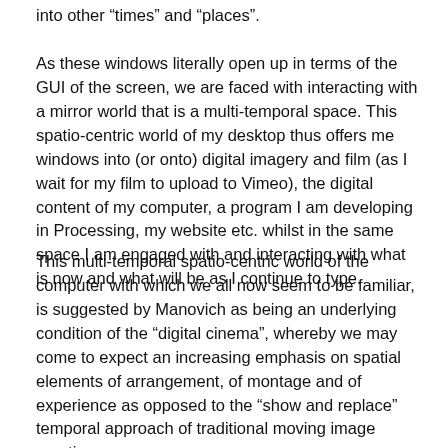into other “times” and “places”.
As these windows literally open up in terms of the GUI of the screen, we are faced with interacting with a mirror world that is a multi-temporal space. This spatio-centric world of my desktop thus offers me windows into (or onto) digital imagery and film (as I wait for my film to upload to Vimeo), the digital content of my computer, a program I am developing in Processing, my website etc. whilst in the same space I am engaged with and interacting with what is now and what will be as I continue to type.
This multi-temporal spatio-centric world of the computer with which we all now seem to be familiar, is suggested by Manovich as being an underlying condition of the “digital cinema”, whereby we may come to expect an increasing emphasis on spatial elements of arrangement, of montage and of experience as opposed to the “show and replace” temporal approach of traditional moving image practice.